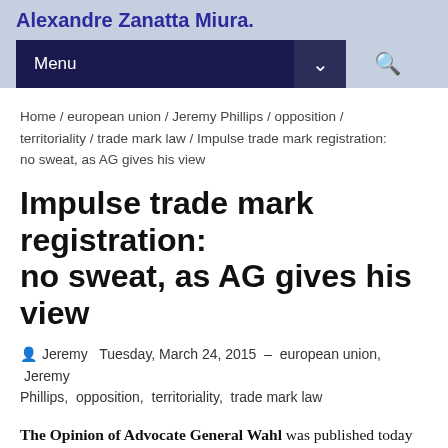Alexandre Zanatta Miura.
Home / european union / Jeremy Phillips / opposition / territoriality / trade mark law / Impulse trade mark registration: no sweat, as AG gives his view
Impulse trade mark registration: no sweat, as AG gives his view
Jeremy  Tuesday, March 24, 2015  –  european union,  Jeremy Phillips,  opposition,  territoriality,  trade mark law
The Opinion of Advocate General Wahl was published today in Case C-125/14 Iron & Smith Kft v Unilever NV, a request for a preliminary ruling by the Court of Justice of the European Union (CJEU) from the Hungarian Fővárosi Törvényszék -- that's the Budapest Municipal Court, if